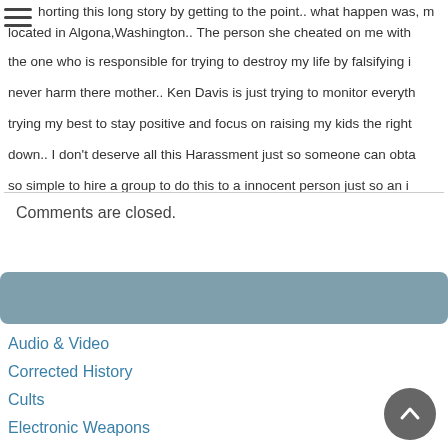...horting this long story by getting to the point.. what happen was, m... located in Algona,Washington.. The person she cheated on me with... the one who is responsible for trying to destroy my life by falsifying i... never harm there mother.. Ken Davis is just trying to monitor everyth... trying my best to stay positive and focus on raising my kids the right... down.. I don't deserve all this Harassment just so someone can obta... so simple to hire a group to do this to a innocent person just so an i...
Comments are closed.
Audio & Video
Corrected History
Cults
Electronic Weapons
Gang Stalking
Mind Control
New World Order